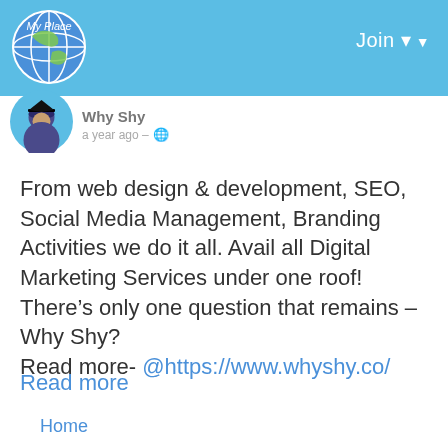[Figure (screenshot): Website header bar with globe logo on the left and Join button with dropdown arrow on the right, on a light blue background]
[Figure (photo): User avatar - circular profile picture of a person with a graduation cap icon, green background]
Why Shy
a year ago · 🌐
From web design & development, SEO, Social Media Management, Branding Activities we do it all. Avail all Digital Marketing Services under one roof! There's only one question that remains – Why Shy?
Read more- @https://www.whyshy.co/
Read more
Home